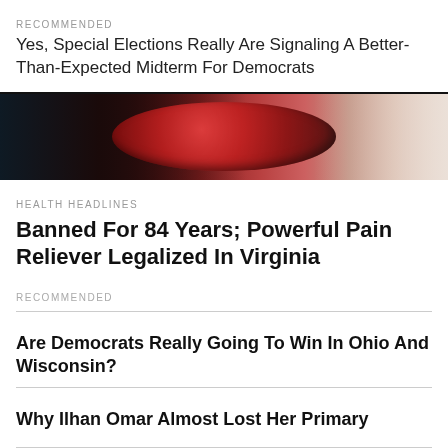RECOMMENDED
Yes, Special Elections Really Are Signaling A Better-Than-Expected Midterm For Democrats
[Figure (photo): Close-up photo of a red sparkly/glistening round object (possibly a candy or fruit) being held in a hand.]
HEALTH HEADLINES
Banned For 84 Years; Powerful Pain Reliever Legalized In Virginia
RECOMMENDED
Are Democrats Really Going To Win In Ohio And Wisconsin?
Why Ilhan Omar Almost Lost Her Primary